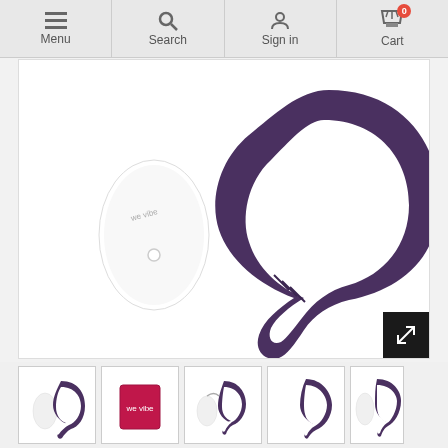Menu | Search | Sign in | Cart (0)
[Figure (photo): Main product image showing a purple We-Vibe couple vibrator with a white remote control, displayed on white background with expand button in bottom-right corner]
[Figure (photo): Thumbnail strip showing 5 product images: product with remote, product box, product with charging cable and remote, product alone, product with remote (partially visible)]